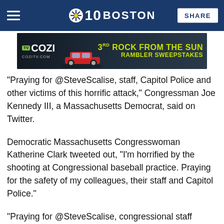NBC 10 Boston | SHARE
[Figure (other): COZI TV advertisement banner - '3rd Rock from the Sun Rambler Sweepstakes' with image of red classic car on dark background]
"Praying for @SteveScalise, staff, Capitol Police and other victims of this horrific attack," Congressman Joe Kennedy III, a Massachusetts Democrat, said on Twitter.
Democratic Massachusetts Congresswoman Katherine Clark tweeted out, "I'm horrified by the shooting at Congressional baseball practice. Praying for the safety of my colleagues, their staff and Capitol Police."
"Praying for @SteveScalise, congressional staff members, Capitol Police, and all those affected by this morning's horrific shooting," Massachusetts Rep. Stephen Lynch tweeted out.